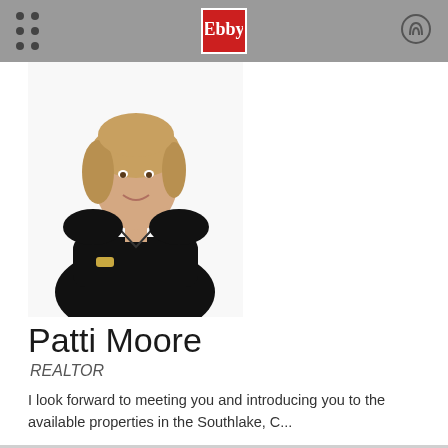Ebby Halliday navigation bar
[Figure (photo): Professional headshot of Patti Moore, a woman with short blonde hair wearing a black top, arms crossed, smiling]
Patti Moore
REALTOR
I look forward to meeting you and introducing you to the available properties in the Southlake, C...
MORE ABOUT PATTI
☎ (817) 481-5882   ☎ (817) 296-3856   ✉ Email   🖥 Website